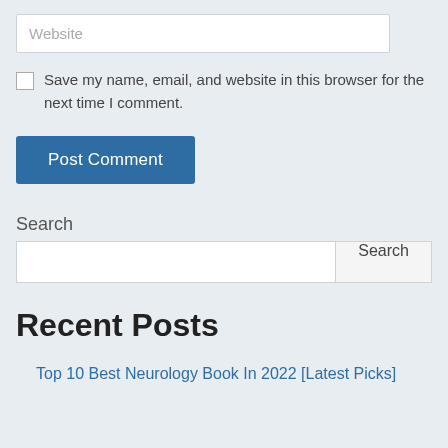Website
Save my name, email, and website in this browser for the next time I comment.
Post Comment
Search
Search
Recent Posts
Top 10 Best Neurology Book In 2022 [Latest Picks]